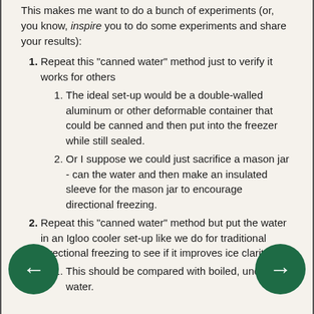This makes me want to do a bunch of experiments (or, you know, inspire you to do some experiments and share your results):
1. Repeat this "canned water" method just to verify it works for others
1. The ideal set-up would be a double-walled aluminum or other deformable container that could be canned and then put into the freezer while still sealed.
2. Or I suppose we could just sacrifice a mason jar - can the water and then make an insulated sleeve for the mason jar to encourage directional freezing.
2. Repeat this "canned water" method but put the water in an Igloo cooler set-up like we do for traditional directional freezing to see if it improves ice clarity.
1. This should be compared with boiled, uncanned water.